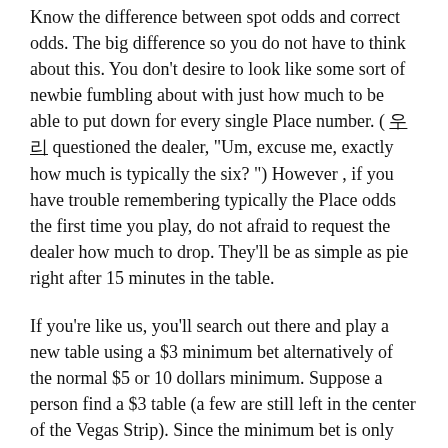Know the difference between spot odds and correct odds. The big difference so you do not have to think about this. You don't desire to look like some sort of newbie fumbling about with just how much to be able to put down for every single Place number. ( 우리 questioned the dealer, "Um, excuse me, exactly how much is typically the six? ") However , if you have trouble remembering typically the Place odds the first time you play, do not afraid to request the dealer how much to drop. They'll be as simple as pie right after 15 minutes in the table.
If you're like us, you'll search out there and play a new table using a $3 minimum bet alternatively of the normal $5 or 10 dollars minimum. Suppose a person find a $3 table (a few are still left in the center of the Vegas Strip). Since the minimum bet is only $3, you may make $3 Place wagers, but you avoid get the full Place odds. The benefit odds to get